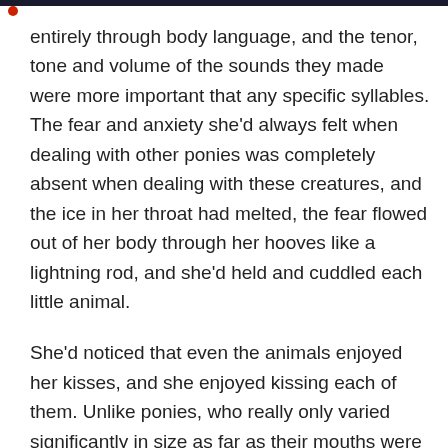entirely through body language, and the tenor, tone and volume of the sounds they made were more important that any specific syllables. The fear and anxiety she'd always felt when dealing with other ponies was completely absent when dealing with these creatures, and the ice in her throat had melted, the fear flowed out of her body through her hooves like a lightning rod, and she'd held and cuddled each little animal.
She'd noticed that even the animals enjoyed her kisses, and she enjoyed kissing each of them. Unlike ponies, who really only varied significantly in size as far as their mouths were concerned, the little animals had all sorts of mouths. She could feel a bee's small tongue just touch her teeth, the smooth, hard shape of its head